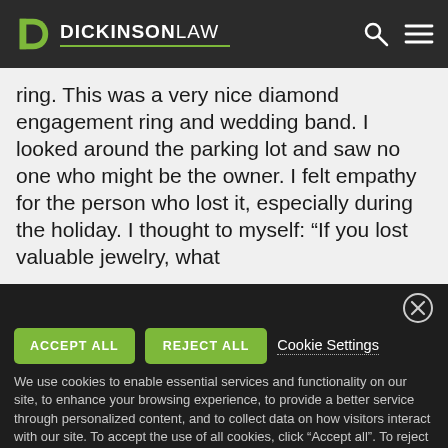DICKINSONLAW
ring. This was a very nice diamond engagement ring and wedding band. I looked around the parking lot and saw no one who might be the owner. I felt empathy for the person who lost it, especially during the holiday. I thought to myself: “If you lost valuable jewelry, what
ACCEPT ALL   REJECT ALL   Cookie Settings
We use cookies to enable essential services and functionality on our site, to enhance your browsing experience, to provide a better service through personalized content, and to collect data on how visitors interact with our site. To accept the use of all cookies, click “Accept all”. To reject the use of all cookies, click “Reject all”. You can customize your cookie preferences by clicking “Cookie Settings”. For more information about our use of cookies and to opt-out of cookies at any time, please refer to our website Privacy Policy.